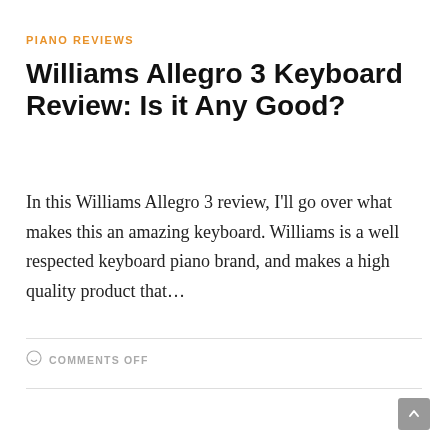PIANO REVIEWS
Williams Allegro 3 Keyboard Review: Is it Any Good?
In this Williams Allegro 3 review, I'll go over what makes this an amazing keyboard. Williams is a well respected keyboard piano brand, and makes a high quality product that…
COMMENTS OFF